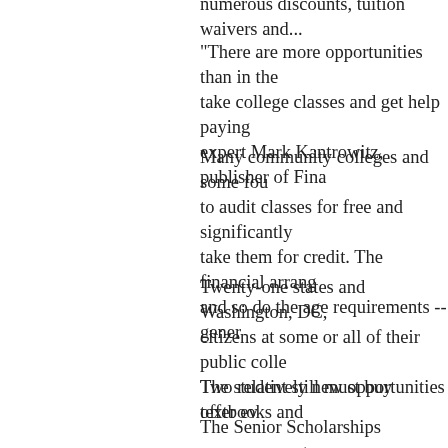numerous discounts, tuition waivers and...
"There are more opportunities than in the... take college classes and get help paying... expert Mark Kantrowitz, publisher of Fina...
Many community colleges and some fou... to audit classes for free and significantly... take them for credit. The financial arrang... and so do the age requirements -- gener...
Twenty-one states and Washington, DC,... citizens at some or all of their public colle... The student still must buy textbooks and...
Two relatively new opportunities offer ev...
The Senior Scholarships program, create... Edward M. Kennedy Serve America Act,... awards for people aged 55 or older who... year. The money may be used for the vo... transferred to a child, foster child or gran...
And the American Opportunity tax credit... of any age dollar-for-dollar for the first US... and course materials. The credit also ap... second US$2,000. Unless extended, the...